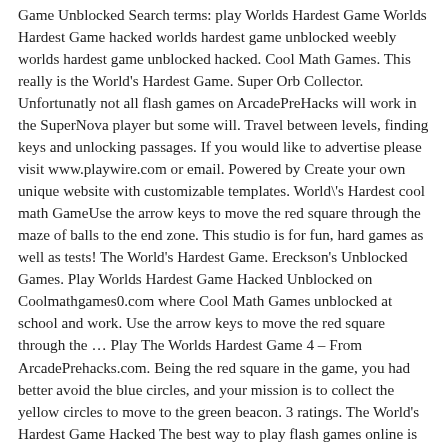Game Unblocked Search terms: play Worlds Hardest Game Worlds Hardest Game hacked worlds hardest game unblocked weebly worlds hardest game unblocked hacked. Cool Math Games. This really is the World's Hardest Game. Super Orb Collector. Unfortunatly not all flash games on ArcadePreHacks will work in the SuperNova player but some will. Travel between levels, finding keys and unlocking passages. If you would like to advertise please visit www.playwire.com or email. Powered by Create your own unique website with customizable templates. World\'s Hardest cool math GameUse the arrow keys to move the red square through the maze of balls to the end zone. This studio is for fun, hard games as well as tests! The World's Hardest Game. Ereckson's Unblocked Games. Play Worlds Hardest Game Hacked Unblocked on Coolmathgames0.com where Cool Math Games unblocked at school and work. Use the arrow keys to move the red square through the … Play The Worlds Hardest Game 4 – From ArcadePrehacks.com. Being the red square in the game, you had better avoid the blue circles, and your mission is to collect the yellow circles to move to the green beacon. 3 ratings. The World's Hardest Game Hacked The best way to play flash games online is with the SuperNova player. Skip level hack. This is really hard!!! Powered by Create your own unique website with customizable templates. Here you can play a ton of fun unblocked games! One of the yellow balls through 50 incredibly hard levels and claim your spot on close. World 's Hardest Game 4; World 's Hardest